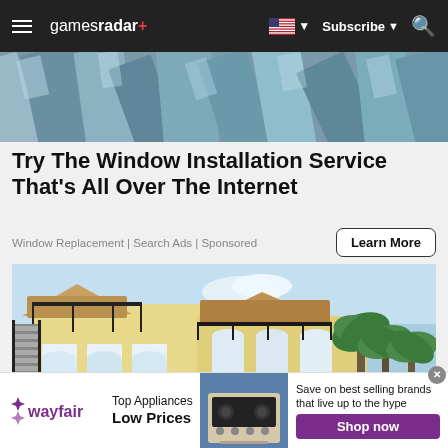gamesradar+ | Subscribe | Search
[Figure (photo): Stacked window frames and glass panels, industrial view from above]
Try The Window Installation Service That's All Over The Internet
Window Replacement | Search Ads | Sponsored
Learn More
[Figure (photo): Large two-story luxury home with balconies, iron railings, and palm trees]
[Figure (infographic): Wayfair advertisement banner: Top Appliances Low Prices — Save on best selling brands that live up to the hype — Shop now]